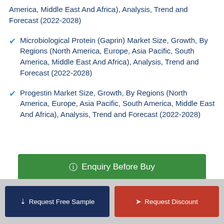America, Middle East And Africa), Analysis, Trend and Forecast (2022-2028)
Microbiological Protein (Gaprin) Market Size, Growth, By Regions (North America, Europe, Asia Pacific, South America, Middle East And Africa), Analysis, Trend and Forecast (2022-2028)
Progestin Market Size, Growth, By Regions (North America, Europe, Asia Pacific, South America, Middle East And Africa), Analysis, Trend and Forecast (2022-2028)
Enquiry Before Buy
Request Free Sample
Request Discount